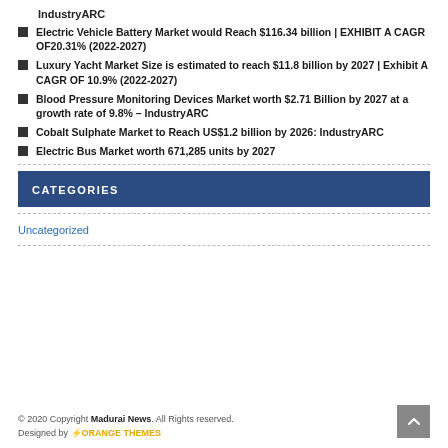IndustryARC
Electric Vehicle Battery Market would Reach $116.34 billion | EXHIBIT A CAGR OF20.31% (2022-2027)
Luxury Yacht Market Size is estimated to reach $11.8 billion by 2027 | Exhibit A CAGR OF 10.9% (2022-2027)
Blood Pressure Monitoring Devices Market worth $2.71 Billion by 2027 at a growth rate of 9.8% – IndustryARC
Cobalt Sulphate Market to Reach US$1.2 billion by 2026: IndustryARC
Electric Bus Market worth 671,285 units by 2027
CATEGORIES
Uncategorized
© 2020 Copyright Madurai News. All Rights reserved. Designed by ORANGE THEMES